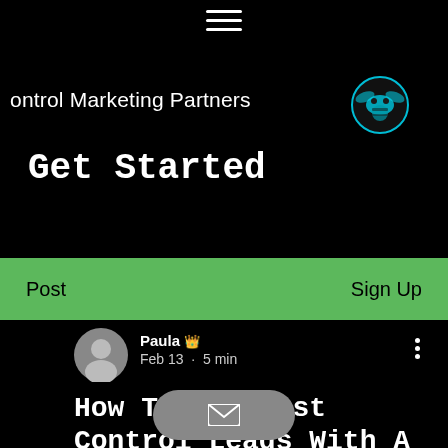[Figure (screenshot): Hamburger menu icon (three horizontal white lines) on black background]
ontrol Marketing Partners
[Figure (logo): Wasp/hornet logo icon in blue and black tones]
Get Started
Post    Sign Up
[Figure (photo): Grey circular avatar placeholder]
Paula 👑
Feb 13 · 5 min
How To Get Pest Control Leads With A High ROI